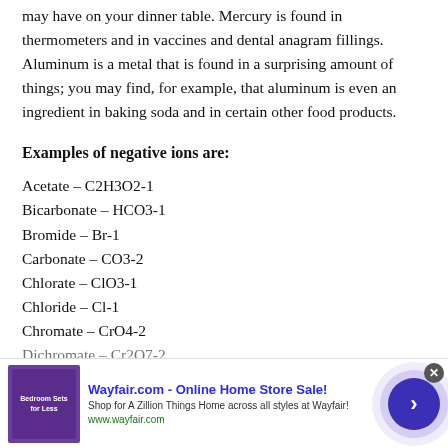may have on your dinner table. Mercury is found in thermometers and in vaccines and dental anagram fillings. Aluminum is a metal that is found in a surprising amount of things; you may find, for example, that aluminum is even an ingredient in baking soda and in certain other food products.
Examples of negative ions are:
Acetate – C2H3O2-1
Bicarbonate – HCO3-1
Bromide – Br-1
Carbonate – CO3-2
Chlorate – ClO3-1
Chloride – Cl-1
Chromate – CrO4-2
Dichromate – Cr2O7-2